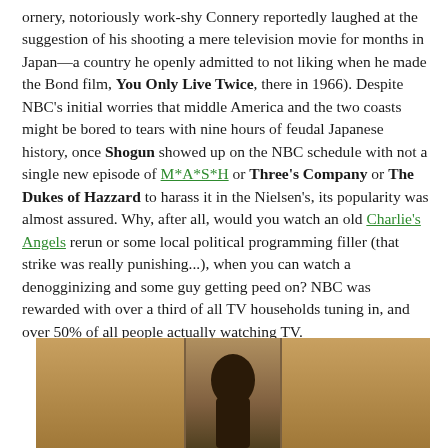ornery, notoriously work-shy Connery reportedly laughed at the suggestion of his shooting a mere television movie for months in Japan—a country he openly admitted to not liking when he made the Bond film, You Only Live Twice, there in 1966). Despite NBC's initial worries that middle America and the two coasts might be bored to tears with nine hours of feudal Japanese history, once Shogun showed up on the NBC schedule with not a single new episode of M*A*S*H or Three's Company or The Dukes of Hazzard to harass it in the Nielsen's, its popularity was almost assured. Why, after all, would you watch an old Charlie's Angels rerun or some local political programming filler (that strike was really punishing...), when you can watch a denogginizing and some guy getting peed on? NBC was rewarded with over a third of all TV households tuning in, and over 50% of all people actually watching TV.
[Figure (photo): A dark, dimly lit scene showing what appears to be a figure or person in low light with warm brown tones, divided into three sections.]